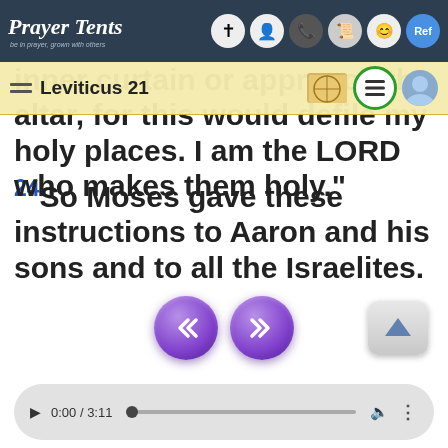Prayer Tents
inner curtain or approach the altar, for this would defile my holy places. I am the LORD who makes them holy."
Leviticus 21
24So Moses gave these instructions to Aaron and his sons and to all the Israelites.
[Figure (screenshot): Navigation buttons: back (double left arrow) and forward (double right arrow) in purple circles, and a scroll-to-top button]
[Figure (screenshot): Audio player showing 0:00 / 3:11 with play button, progress bar, volume and more options]